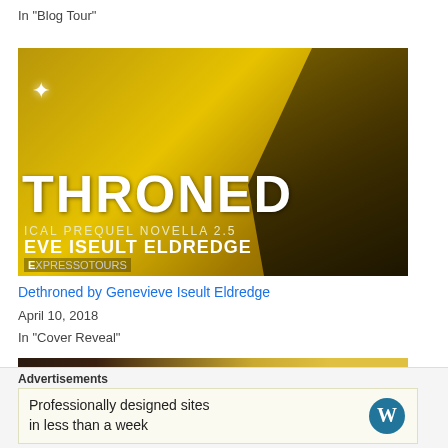In "Blog Tour"
[Figure (illustration): Book cover for 'Throned' by Genevieve Iseult Eldredge — yellow/gold background with silhouetted figure, text reads 'THRONED', 'ICAL PREQUEL NOVELLA 2.5', 'EVE ISEULT ELDREDGE', 'XPRESSOTOURS']
Dethroned by Genevieve Iseult Eldredge
April 10, 2018
In "Cover Reveal"
[Figure (illustration): Partial image with text 'Who could ever learn to love a b...']
Advertisements
Professionally designed sites in less than a week